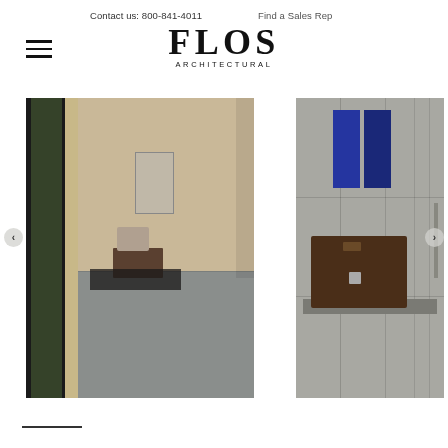Contact us: 800-841-4011   Find a Sales Rep
FLOS ARCHITECTURAL
[Figure (photo): Interior hallway of a modern wood-and-concrete home with large glass doors, pale sandy walls, a framed artwork, a wooden bench with a throw, and a dark rug on grey concrete floor]
[Figure (photo): Close-up of grey textured wall panels with a built-in shelf holding a dark brown leather briefcase, and blue rectangular objects mounted at top]